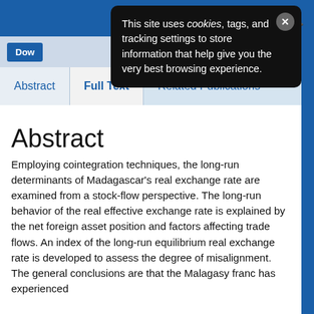[Figure (screenshot): Cookie consent popup overlay on an academic journal website. Black rounded rectangle popup with white text reading: 'This site uses cookies, tags, and tracking settings to store information that help give you the very best browsing experience.' with a close (X) button.]
Dow
Abstract | Full Text | Related Publications
Abstract
Employing cointegration techniques, the long-run determinants of Madagascar's real exchange rate are examined from a stock-flow perspective. The long-run behavior of the real effective exchange rate is explained by the net foreign asset position and factors affecting trade flows. An index of the long-run equilibrium real exchange rate is developed to assess the degree of misalignment. The general conclusions are that the Malagasy franc has experienced